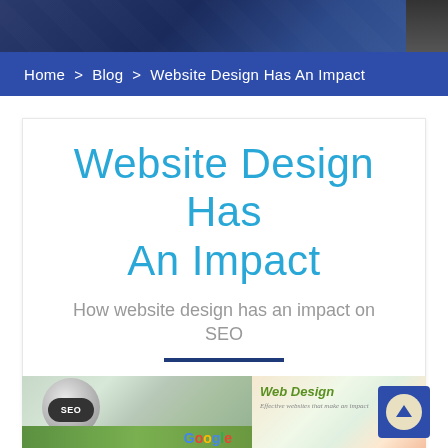Home > Blog > Website Design Has An Impact
Website Design Has An Impact
How website design has an impact on SEO
[Figure (photo): Collage of SEO brain globe, hands on mouse with leaves, Google logo, and Web Design text with floral background]